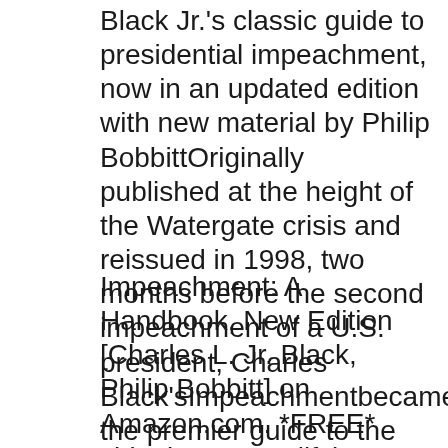Black Jr.'s classic guide to presidential impeachment, now in an updated edition with new material by Philip BobbittOriginally published at the height of the Watergate crisis and reissued in 1998, two months before the second impeachment of a U.S. president, Charles Black'sImpeachmentbecame the premier guide to the subject of presidential impeachment.
Impeachment: A Handbook, New Edition [Charles L. Jr. Black, Philip Bobbitt] on Amazon.com. *FREE* shipping on qualifying offers. Originally published at the height of the Watergate crisis, Charles BlackвЂ™s classic